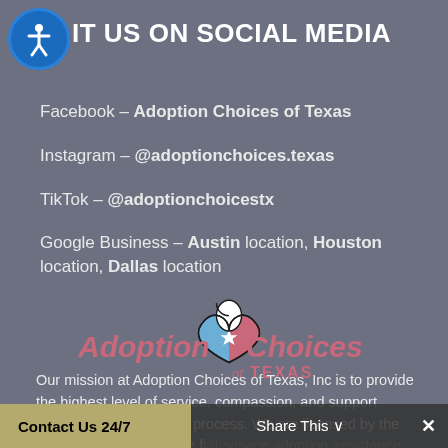IT US ON SOCIAL MEDIA
Facebook – Adoption Choices of Texas
Instagram – @adoptionchoices.texas
TikTok – @adoptionchoicestx
Google Business – Austin location, Houston location, Dallas location
[Figure (logo): Adoption Choices of Texas logo with heart shape combining Texas flag colors (blue and pink/red) with a white star, beside stylized text 'Adoption Choices of Texas']
Our mission at Adoption Choices of Texas, Inc is to provide the highest level of service, compassion, and support throughout the adoption process. We are licensed by the State of Texas to provide full-service adoption assistance statewide. Everyone faces different circumstance and
Contact Us 24/7   Share This ∨   ✕